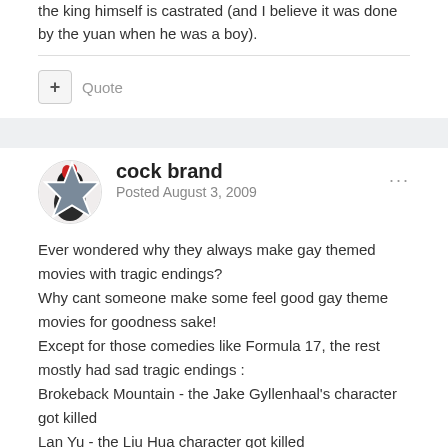the king himself is castrated (and I believe it was done by the yuan when he was a boy).
+ Quote
cock brand
Posted August 3, 2009
Ever wondered why they always make gay themed movies with tragic endings?
Why cant someone make some feel good gay theme movies for goodness sake!
Except for those comedies like Formula 17, the rest mostly had sad tragic endings :
Brokeback Mountain - the Jake Gyllenhaal's character got killed
Lan Yu - the Liu Hua character got killed
Bangkok Love Storey - one got blinded and one got killed in the end
Frozen Flower - they killed each other